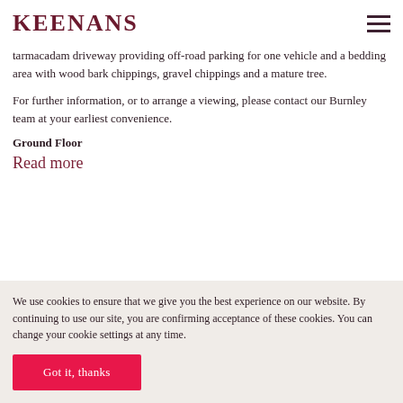KEENANS
tarmacadam driveway providing off-road parking for one vehicle and a bedding area with wood bark chippings, gravel chippings and a mature tree.
For further information, or to arrange a viewing, please contact our Burnley team at your earliest convenience.
Ground Floor
Read more
We use cookies to ensure that we give you the best experience on our website. By continuing to use our site, you are confirming acceptance of these cookies. You can change your cookie settings at any time.
Got it, thanks